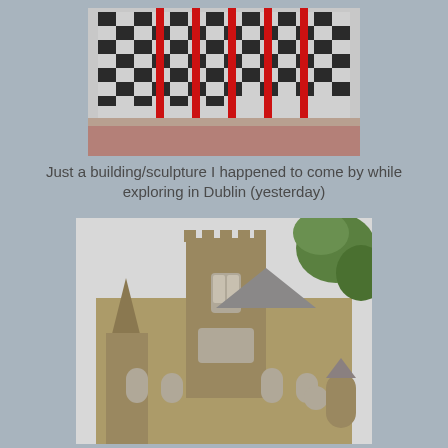[Figure (photo): A modern building with a black and white checkered facade and tall red vertical sculptural pillars/columns in front of it, photographed in Dublin. The forecourt has reddish paving stones.]
Just a building/sculpture I happened to come by while exploring in Dublin (yesterday)
[Figure (photo): Christ Church Cathedral in Dublin, a medieval Gothic stone cathedral with a tall tower, pointed spires, battlements, arched windows, and a circular window. Green tree foliage visible in upper right corner.]